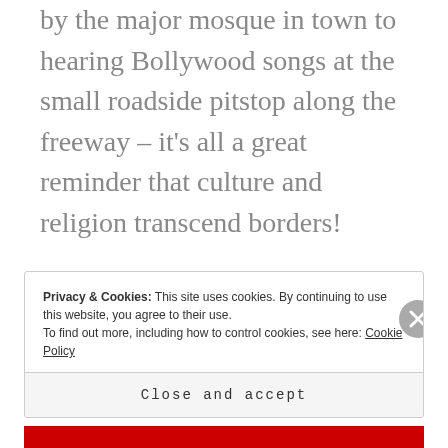by the major mosque in town to hearing Bollywood songs at the small roadside pitstop along the freeway – it's all a great reminder that culture and religion transcend borders!
Privacy & Cookies: This site uses cookies. By continuing to use this website, you agree to their use.
To find out more, including how to control cookies, see here: Cookie Policy
Close and accept